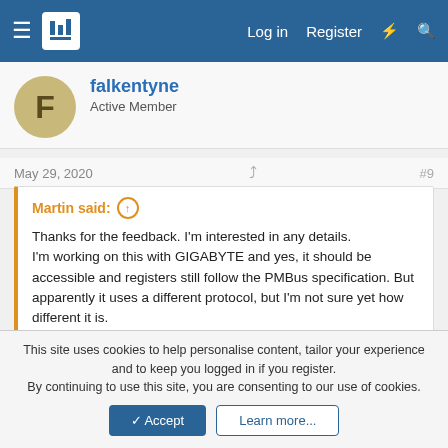Log in  Register
falkentyne
Active Member
May 29, 2020  #9
Martin said: ↑
Thanks for the feedback. I'm interested in any details. I'm working on this with GIGABYTE and yes, it should be accessible and registers still follow the PMBus specification. But apparently it uses a different protocol, but I'm not sure yet how different it is.
Shamino is allowing me to share the tool. Hope this helps you!
Thank you for your support of Hwinfo!
This site uses cookies to help personalise content, tailor your experience and to keep you logged in if you register.
By continuing to use this site, you are consenting to our use of cookies.